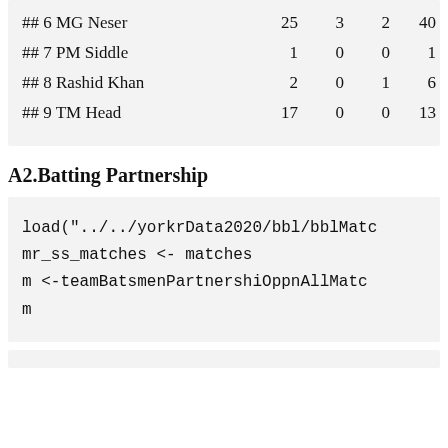| ## 6 MG Neser | 25 | 3 | 2 | 40 |
| ## 7 PM Siddle | 1 | 0 | 0 | 1 |
| ## 8 Rashid Khan | 2 | 0 | 1 | 6 |
| ## 9 TM Head | 17 | 0 | 0 | 13 |
A2.Batting Partnership
load("../../yorkrData2020/bbl/bblMatc
mr_ss_matches <- matches
m <-teamBatsmenPartnershiOppnAllMatc
m